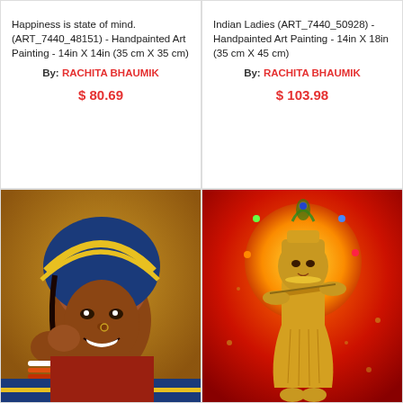Happiness is state of mind. (ART_7440_48151) - Handpainted Art Painting - 14in X 14in (35 cm X 35 cm)
By: RACHITA BHAUMIK
$ 80.69
Indian Ladies (ART_7440_50928) - Handpainted Art Painting - 14in X 18in (35 cm X 45 cm)
By: RACHITA BHAUMIK
$ 103.98
[Figure (photo): Painting of a smiling Indian woman wearing a blue and yellow head covering with bangles and nose ring, in traditional Rajasthani style]
[Figure (photo): Painting of Lord Krishna playing a flute, depicted in golden color against a red and orange background with a glowing halo]